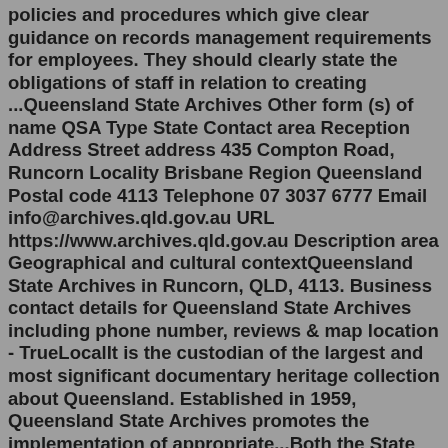policies and procedures which give clear guidance on records management requirements for employees. They should clearly state the obligations of staff in relation to creating ...Queensland State Archives Other form (s) of name QSA Type State Contact area Reception Address Street address 435 Compton Road, Runcorn Locality Brisbane Region Queensland Postal code 4113 Telephone 07 3037 6777 Email info@archives.qld.gov.au URL https://www.archives.qld.gov.au Description area Geographical and cultural contextQueensland State Archives in Runcorn, QLD, 4113. Business contact details for Queensland State Archives including phone number, reviews & map location - TrueLocalIt is the custodian of the largest and most significant documentary heritage collection about Queensland. Established in 1959, Queensland State Archives promotes the implementation of appropriate...Both the State Archives and TNA copies are available on the Ancestry Library Edition database. This website indexes names of heads of households recorded on the